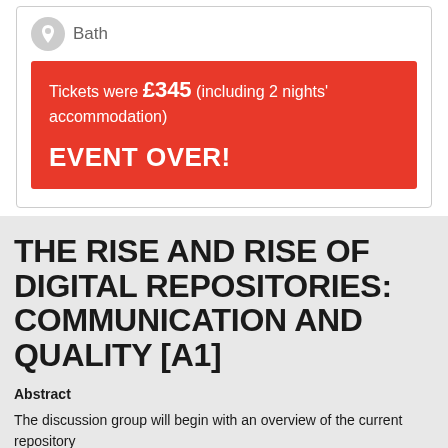Bath
Tickets were £345 (including 2 nights' accommodation)
EVENT OVER!
THE RISE AND RISE OF DIGITAL REPOSITORIES: COMMUNICATION AND QUALITY [A1]
Abstract
The discussion group will begin with an overview of the current repository